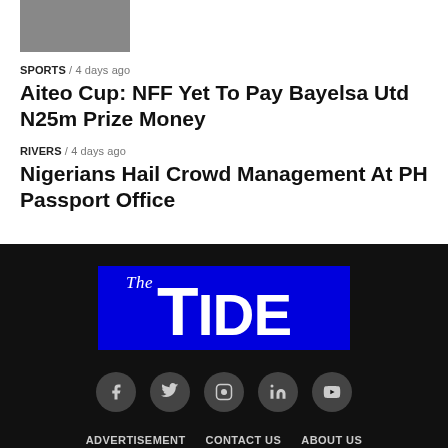[Figure (photo): Thumbnail image of metal/physical objects, partially visible at top]
SPORTS / 4 days ago
Aiteo Cup: NFF Yet To Pay Bayelsa Utd N25m Prize Money
RIVERS / 4 days ago
Nigerians Hail Crowd Management At PH Passport Office
[Figure (logo): The Tide newspaper logo — blue rectangle with white bold text reading 'The TiDE']
ADVERTISEMENT   CONTACT US   ABOUT US   PRIVACY POLICY   EMAIL PORTAL